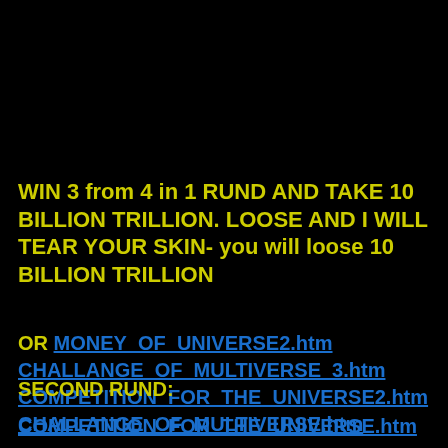WIN 3 from 4 in 1 RUND AND TAKE 10 BILLION TRILLION. LOOSE AND I WILL TEAR YOUR SKIN- you will loose 10 BILLION TRILLION
OR MONEY_OF_UNIVERSE2.htm CHALLANGE_OF_MULTIVERSE_3.htm COMPETITION_FOR_THE_UNIVERSE2.htm CHALLANGE_OF_MULTIVERSE.htm
SECOND RUND:
COMPETITION_FOR_THE_UNIVERSE.htm